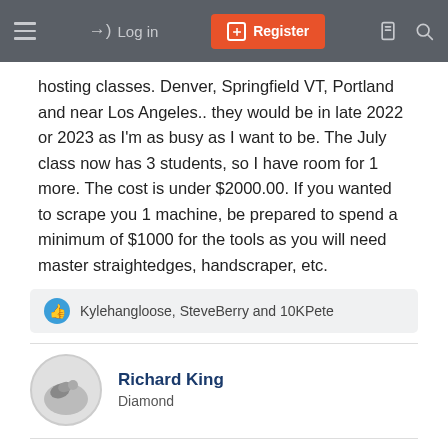Log in | Register
hosting classes. Denver, Springfield VT, Portland and near Los Angeles.. they would be in late 2022 or 2023 as I'm as busy as I want to be. The July class now has 3 students, so I have room for 1 more. The cost is under $2000.00. If you wanted to scrape you 1 machine, be prepared to spend a minimum of $1000 for the tools as you will need master straightedges, handscraper, etc.
Kylehangloose, SteveBerry and 10KPete
Richard King
Diamond
May 21, 2022
#7
I also have a blog on Facebook under my company